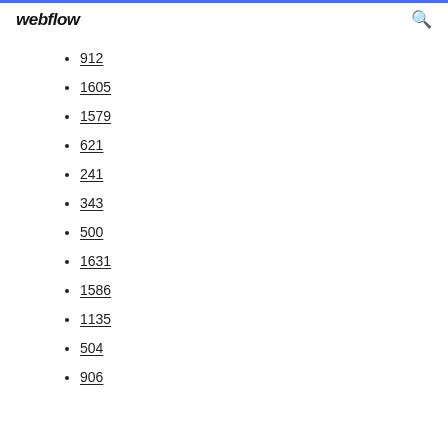webflow
912
1605
1579
621
241
343
500
1631
1586
1135
504
906